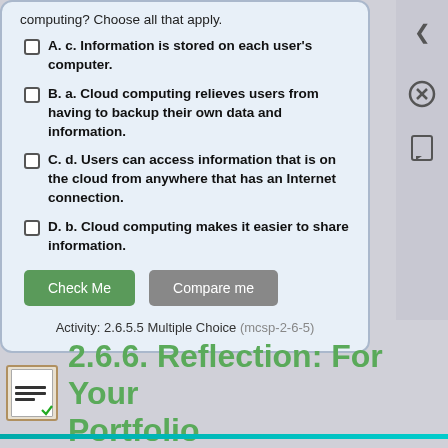computing? Choose all that apply.
A. c. Information is stored on each user's computer.
B. a. Cloud computing relieves users from having to backup their own data and information.
C. d. Users can access information that is on the cloud from anywhere that has an Internet connection.
D. b. Cloud computing makes it easier to share information.
Activity: 2.6.5.5 Multiple Choice (mcsp-2-6-5)
2.6.6. Reflection: For Your Portfolio